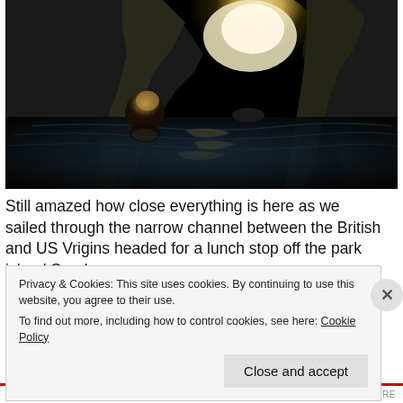[Figure (photo): A person swimming inside a dark sea cave looking toward a bright opening. Rocky cave walls and rippling water are visible. The scene is dark with bright light coming through the cave entrance.]
Still amazed how close everything is here as we sailed through the narrow channel between the British and US Vrigins headed for a lunch stop off the park island Sandy
Privacy & Cookies: This site uses cookies. By continuing to use this website, you agree to their use.
To find out more, including how to control cookies, see here: Cookie Policy
Close and accept